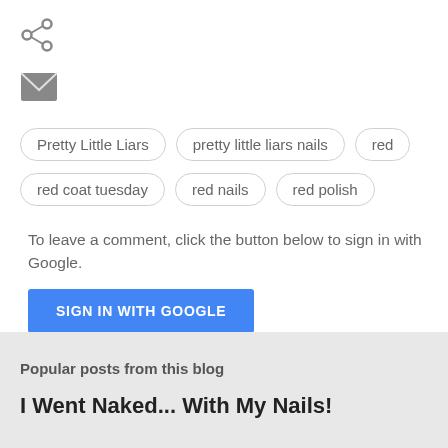[Figure (other): Share icon (three connected circles with lines)]
[Figure (other): Email/envelope icon (dark grey filled envelope shape)]
Pretty Little Liars
pretty little liars nails
red
red coat tuesday
red nails
red polish
To leave a comment, click the button below to sign in with Google.
[Figure (other): SIGN IN WITH GOOGLE button (blue rectangle with white uppercase text)]
Popular posts from this blog
I Went Naked... With My Nails!